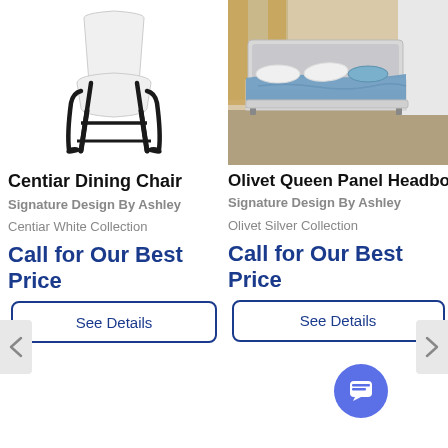[Figure (photo): White upholstered dining chair with black metal sled base]
Centiar Dining Chair
Signature Design By Ashley
Centiar White Collection
Call for Our Best Price
See Details
[Figure (photo): Queen panel bed with white/silver upholstered headboard and blue bedding in a bedroom setting]
Olivet Queen Panel Headboard/footboard
Signature Design By Ashley
Olivet Silver Collection
Call for Our Best Price
See Details